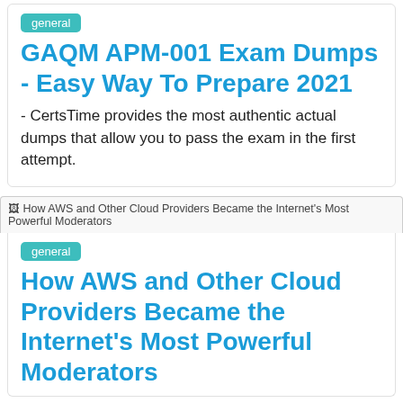general
GAQM APM-001 Exam Dumps - Easy Way To Prepare 2021
- CertsTime provides the most authentic actual dumps that allow you to pass the exam in the first attempt.
[Figure (screenshot): Broken image placeholder showing alt text: How AWS and Other Cloud Providers Became the Internet's Most Powerful Moderators]
general
How AWS and Other Cloud Providers Became the Internet's Most Powerful Moderators